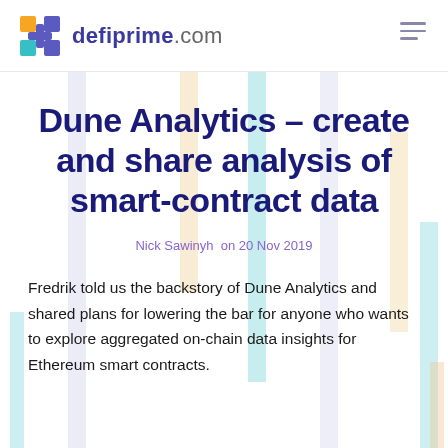defiprime.com
Dune Analytics – create and share analysis of smart-contract data
Nick Sawinyh on 20 Nov 2019
Fredrik told us the backstory of Dune Analytics and shared plans for lowering the bar for anyone who wants to explore aggregated on-chain data insights for Ethereum smart contracts.